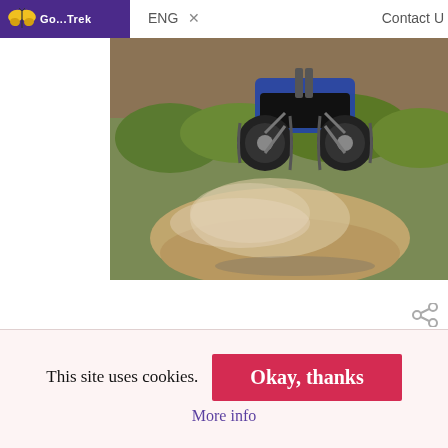ENG   Contact U
[Figure (photo): ATV / quad bike airborne over a dirt track, dust cloud visible, green bushes in background]
In Madagascar you never just drive your quad through monotonous sand hills!
This site uses cookies.
Okay, thanks
More info